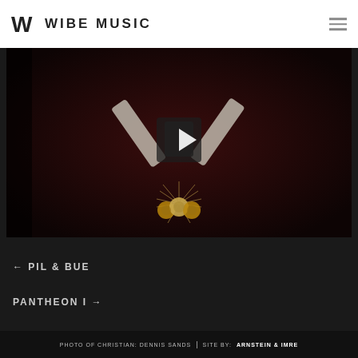WIBE MUSIC
[Figure (screenshot): Video thumbnail showing a dark maroon background with crossed instrument/figure emblem at top and golden roses emblem at bottom, with a play button in the center]
← PIL & BUE
PANTHEON I →
PHOTO OF CHRISTIAN: DENNIS SANDS | SITE BY: ARNSTEIN & IMRE